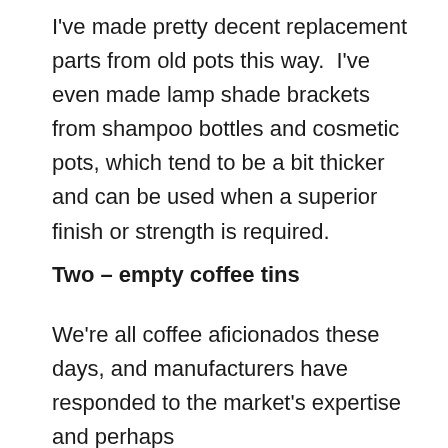I've made pretty decent replacement parts from old pots this way.  I've even made lamp shade brackets from shampoo bottles and cosmetic pots, which tend to be a bit thicker and can be used when a superior finish or strength is required.
Two – empty coffee tins
We're all coffee aficionados these days, and manufacturers have responded to the market's expertise and perhaps